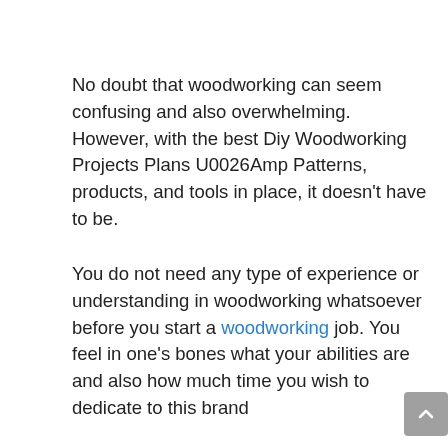No doubt that woodworking can seem confusing and also overwhelming. However, with the best Diy Woodworking Projects Plans U0026Amp Patterns, products, and tools in place, it doesn't have to be.
You do not need any type of experience or understanding in woodworking whatsoever before you start a woodworking job. You feel in one's bones what your abilities are and also how much time you wish to dedicate to this brand